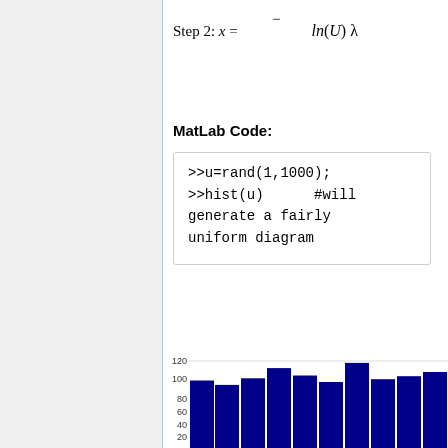Step 2: x = -ln(U) / λ
MatLab Code:
>>u=rand(1,1000);
>>hist(u)      #will generate a fairly uniform diagram
[Figure (histogram): Histogram of uniform random variable u]